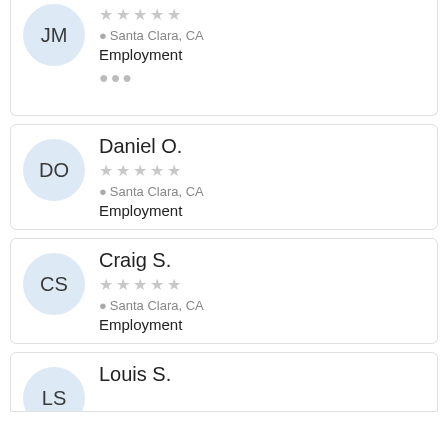JM — Santa Clara, CA — Employment
Daniel O. — Santa Clara, CA — Employment
Craig S. — Santa Clara, CA — Employment
Louis S.